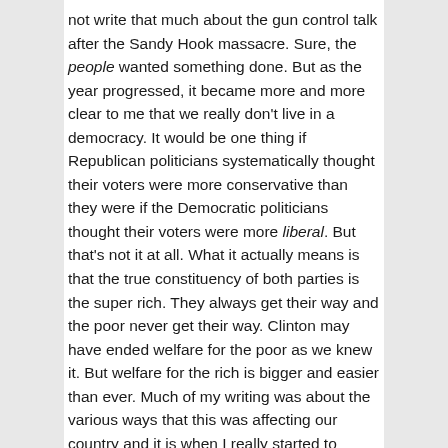not write that much about the gun control talk after the Sandy Hook massacre. Sure, the people wanted something done. But as the year progressed, it became more and more clear to me that we really don't live in a democracy. It would be one thing if Republican politicians systematically thought their voters were more conservative than they were if the Democratic politicians thought their voters were more liberal. But that's not it at all. What it actually means is that the true constituency of both parties is the super rich. They always get their way and the poor never get their way. Clinton may have ended welfare for the poor as we knew it. But welfare for the rich is bigger and easier than ever. Much of my writing was about the various ways that this was affecting our country and it is when I really started to argue that the